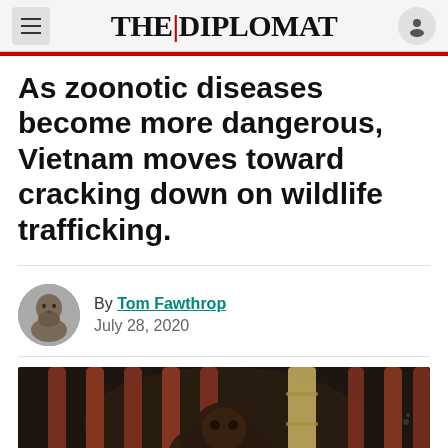THE DIPLOMAT
As zoonotic diseases become more dangerous, Vietnam moves toward cracking down on wildlife trafficking.
By Tom Fawthrop
July 28, 2020
[Figure (photo): Dark photograph showing an animal (appears to be a primate) behind thick bars of a cage, with bamboo-like poles visible.]